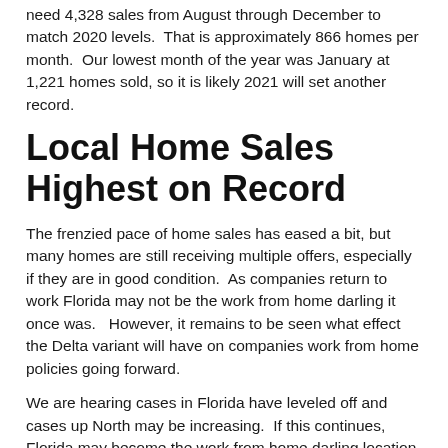need 4,328 sales from August through December to match 2020 levels.  That is approximately 866 homes per month.  Our lowest month of the year was January at 1,221 homes sold, so it is likely 2021 will set another record.
Local Home Sales Highest on Record
The frenzied pace of home sales has eased a bit, but many homes are still receiving multiple offers, especially if they are in good condition.  As companies return to work Florida may not be the work from home darling it once was.   However, it remains to be seen what effect the Delta variant will have on companies work from home policies going forward.
We are hearing cases in Florida have leveled off and cases up North may be increasing.  If this continues, Florida may become the work from home darling location again.
This is good news for home buyers.  Buyers will have more choices and less price increases to contend with.  Rising interest rates are like a hidden price increase because it increases the cost of ownership.  We would suggest buyers take advantage of